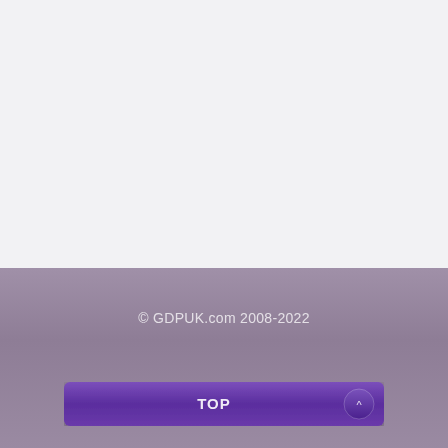© GDPUK.com 2008-2022
[Figure (screenshot): A purple/violet footer bar containing a 'TOP' button with an upward arrow icon on the right side, on a muted purple background. Above is a light gray empty content area.]